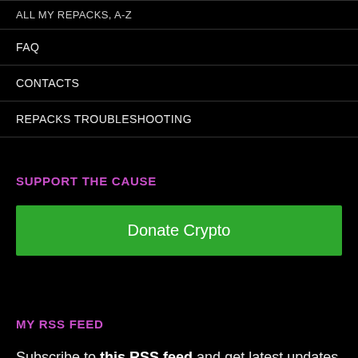ALL MY REPACKS, A-Z
FAQ
CONTACTS
REPACKS TROUBLESHOOTING
SUPPORT THE CAUSE
[Figure (other): Green donate button labeled 'Donate Crypto']
MY RSS FEED
Subscribe to this RSS feed and get latest updates automatically.